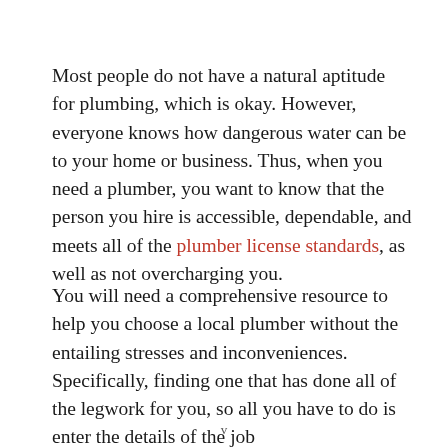Most people do not have a natural aptitude for plumbing, which is okay. However, everyone knows how dangerous water can be to your home or business. Thus, when you need a plumber, you want to know that the person you hire is accessible, dependable, and meets all of the plumber license standards, as well as not overcharging you.
You will need a comprehensive resource to help you choose a local plumber without the entailing stresses and inconveniences. Specifically, finding one that has done all of the legwork for you, so all you have to do is enter the details of the job
v